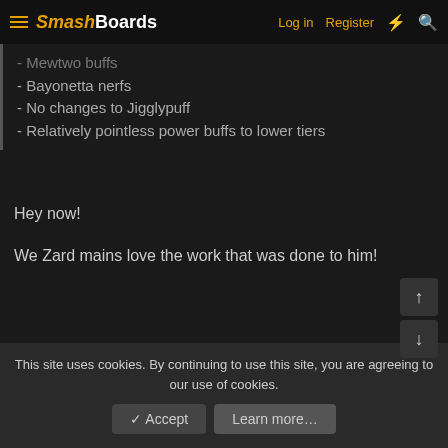SmashBoards — Log in   Register
- Mewtwo buffs
- Bayonetta nerfs
- No changes to Jigglypuff
- Relatively pointless power buffs to lower tiers
Hey now!
We Zard mains love the work that was done to him!
This site uses cookies. By continuing to use this site, you are agreeing to our use of cookies.